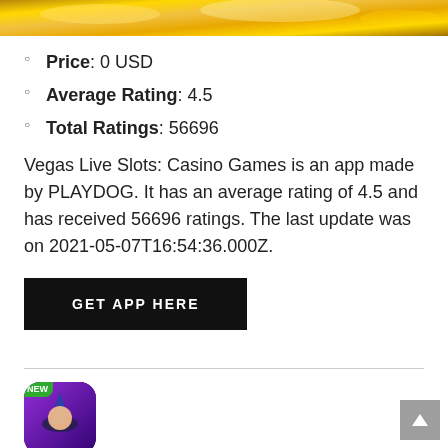[Figure (photo): Gold glittering banner image at the top of the page]
Price: 0 USD
Average Rating: 4.5
Total Ratings: 56696
Vegas Live Slots: Casino Games is an app made by PLAYDOG. It has an average rating of 4.5 and has received 56696 ratings. The last update was on 2021-05-07T16:54:36.000Z.
GET APP HERE
[Figure (photo): App icon with a wizard character and NEW badge, purple/gradient background]